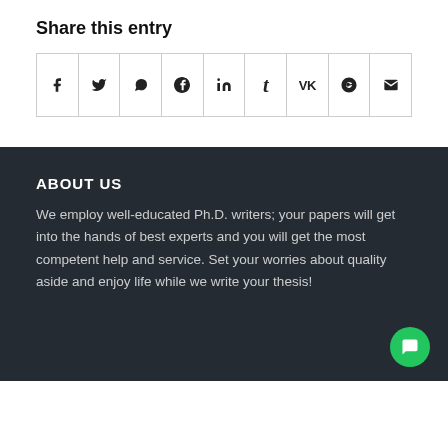Share this entry
[Figure (infographic): Row of social media sharing icons: Facebook, Twitter, WhatsApp, Pinterest, LinkedIn, Tumblr, VK, Reddit, Email]
ABOUT US
We employ well-educated Ph.D. writers; your papers will get into the hands of best experts and you will get the most competent help and service. Set your worries about quality aside and enjoy life while we write your thesis!